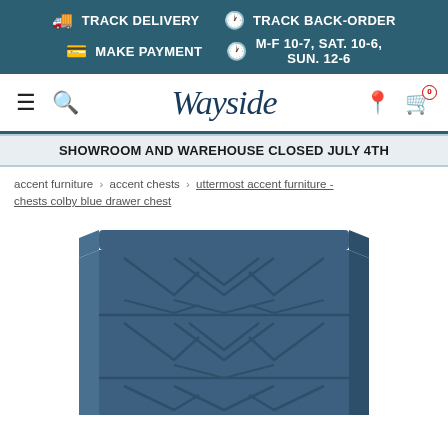TRACK DELIVERY | TRACK BACK-ORDER | MAKE PAYMENT | M-F 10-7, SAT. 10-6, SUN. 12-6
[Figure (logo): Wayside furniture store logo and navigation bar with hamburger menu, search, location pin, and cart icons]
SHOWROOM AND WAREHOUSE CLOSED JULY 4TH
accent furniture › accent chests › uttermost accent furniture - chests colby blue drawer chest
[Figure (photo): Blue drawer chest with geometric chevron/arrow pattern on drawer fronts, shown from a slightly elevated angle against white background]